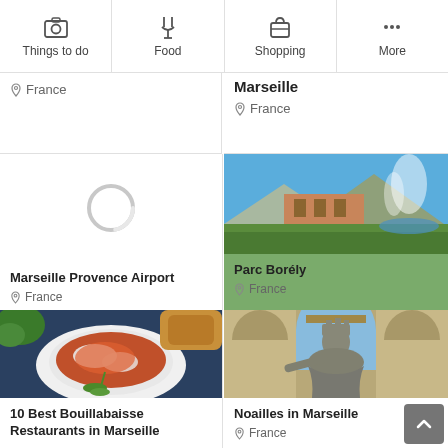[Figure (screenshot): Mobile app navigation bar with icons: Things to do (camera icon), Food (fork/knife icon), Shopping (bag icon), More (three dots icon)]
France
Marseille
France
[Figure (photo): Loading spinner / placeholder image for Marseille Provence Airport card]
[Figure (photo): Photo of Parc Borély showing fountains and green gardens with blue sky]
Marseille Provence Airport
France
Parc Borély
France
[Figure (photo): Photo of a bouillabaisse dish in a white bowl with vegetables]
[Figure (photo): Photo of a classical statue at Noailles in Marseille, stone building with arched windows]
10 Best Bouillabaisse Restaurants in Marseille
Noailles in Marseille
France